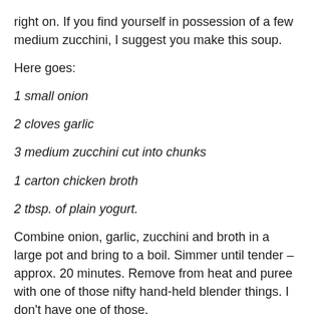right on. If you find yourself in possession of a few medium zucchini, I suggest you make this soup.
Here goes:
1 small onion
2 cloves garlic
3 medium zucchini cut into chunks
1 carton chicken broth
2 tbsp. of plain yogurt.
Combine onion, garlic, zucchini and broth in a large pot and bring to a boil. Simmer until tender – approx. 20 minutes. Remove from heat and puree with one of those nifty hand-held blender things. I don't have one of those,